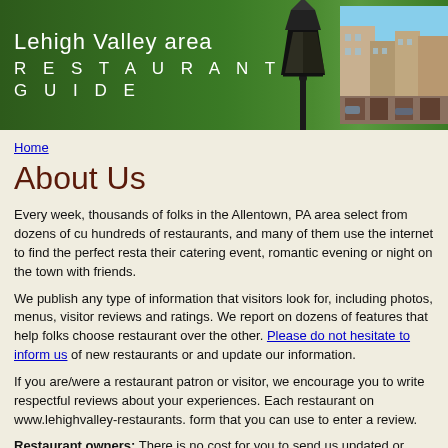Lehigh Valley area RESTAURANT GUIDE
Home
About Us
Every week, thousands of folks in the Allentown, PA area select from dozens of cu hundreds of restaurants, and many of them use the internet to find the perfect resta their catering event, romantic evening or night on the town with friends.
We publish any type of information that visitors look for, including photos, menus, visitor reviews and ratings. We report on dozens of features that help folks choose restaurant over the other. Please do not hesitate to inform us of new restaurants or and update our information.
If you are/were a restaurant patron or visitor, we encourage you to write respectful reviews about your experiences. Each restaurant on www.lehighvalley-restaurants. form that you can use to enter a review.
Restaurant owners: There is no cost for you to send us updated or enhanced infor about your restaurant. Restaurant owners/managers can register here , and once y